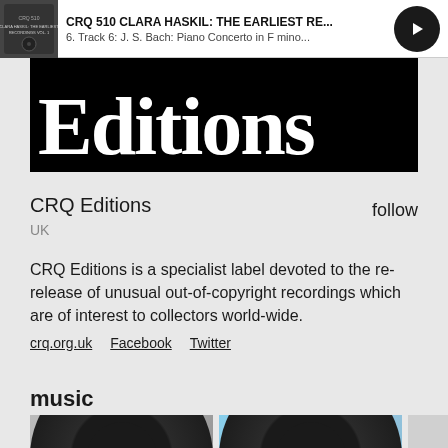CRQ 510 CLARA HASKIL: THE EARLIEST RE... | 6. Track 6: J. S. Bach: Piano Concerto in F mino...
[Figure (illustration): Black banner image with large white serif 'Editions' text on black background]
CRQ Editions
UK
follow
CRQ Editions is a specialist label devoted to the re-release of unusual out-of-copyright recordings which are of interest to collectors world-wide.
crq.org.uk   Facebook   Twitter
music
[Figure (photo): Vinyl record album thumbnail for CRQ Editions on grey background]
[Figure (photo): Vinyl record album thumbnail for CRQ Editions - Clara Haskil: The Earliest on blue background]